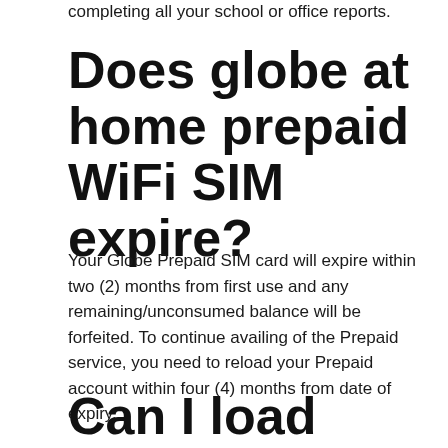completing all your school or office reports.
Does globe at home prepaid WiFi SIM expire?
Your Globe Prepaid SIM card will expire within two (2) months from first use and any remaining/unconsumed balance will be forfeited. To continue availing of the Prepaid service, you need to reload your Prepaid account within four (4) months from date of expiry.
Can I load GoSURF50